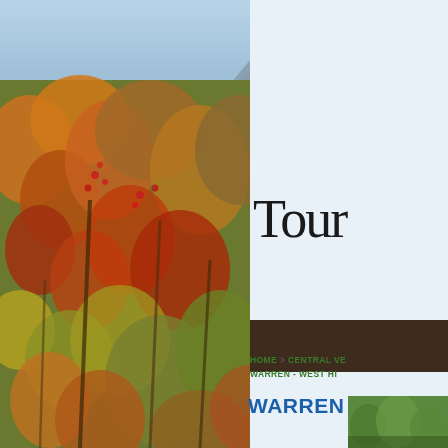[Figure (photo): Autumn foliage scene with orange, red, and green leaves on trees, mountains visible in background with blue sky]
Tour
HOME > CENTRAL VE... WARREN - WEST HI...
WARREN - W...
[Figure (photo): Small thumbnail photo of trees/landscape at bottom right]